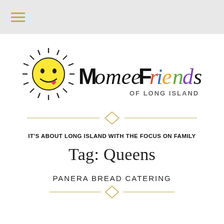≡ (navigation menu)
[Figure (logo): MomeeFriends Of Long Island logo with a yellow sun with a smiley face and colorful lettering]
IT'S ABOUT LONG ISLAND WITH THE FOCUS ON FAMILY
Tag: Queens
PANERA BREAD CATERING